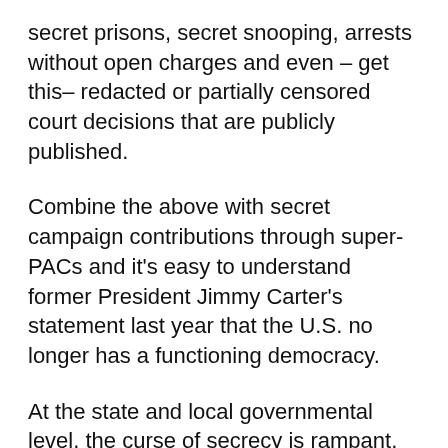secret prisons, secret snooping, arrests without open charges and even – get this– redacted or partially censored court decisions that are publicly published.
Combine the above with secret campaign contributions through super-PACs and it's easy to understand former President Jimmy Carter's statement last year that the U.S. no longer has a functioning democracy.
At the state and local governmental level, the curse of secrecy is rampant. In the District of Columbia, the Office of the Deputy Mayor for Planning and Economic Development has repeatedly refused formal requests, pursuant to